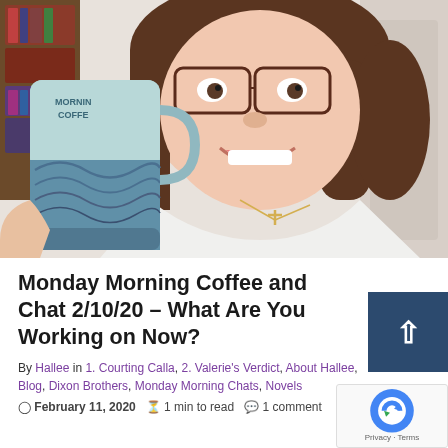[Figure (photo): A smiling woman with glasses and brown hair, wearing a white v-neck top with a cross necklace, holding up a large blue-green ceramic coffee mug with an ocean wave embossed design. Behind her are bookshelves. The mug partially obscures a sign reading 'Morning Coffee'.]
Monday Morning Coffee and Chat 2/10/20 – What Are You Working on Now?
By Hallee in 1. Courting Calla, 2. Valerie's Verdict, About Hallee, Blog, Dixon Brothers, Monday Morning Chats, Novels
February 11, 2020  1 min to read  1 comment